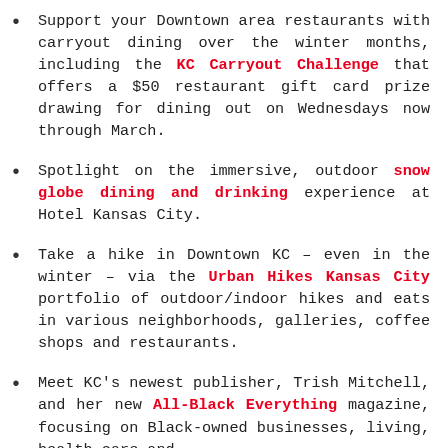Support your Downtown area restaurants with carryout dining over the winter months, including the KC Carryout Challenge that offers a $50 restaurant gift card prize drawing for dining out on Wednesdays now through March.
Spotlight on the immersive, outdoor snow globe dining and drinking experience at Hotel Kansas City.
Take a hike in Downtown KC – even in the winter – via the Urban Hikes Kansas City portfolio of outdoor/indoor hikes and eats in various neighborhoods, galleries, coffee shops and restaurants.
Meet KC's newest publisher, Trish Mitchell, and her new All-Black Everything magazine, focusing on Black-owned businesses, living, health care and